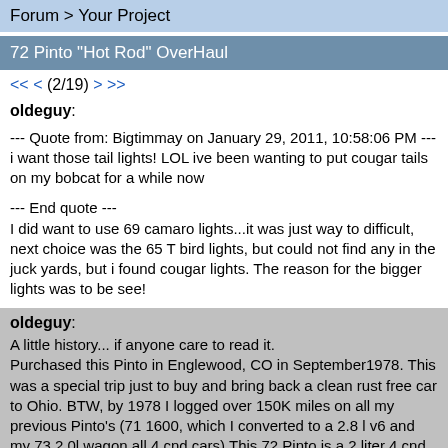Forum > Your Project
72 Pinto "Hot Rod" OverHaul
<< < (2/19) > >>
oldeguy:

--- Quote from: Bigtimmay on January 29, 2011, 10:58:06 PM ---i want those tail lights! LOL ive been wanting to put cougar tails on my bobcat for a while now

--- End quote ---
I did want to use 69 camaro lights...it was just way to difficult, next choice was the 65 T bird lights, but could not find any in the juck yards, but i found cougar lights. The reason for the bigger lights was to be see!
oldeguy:
A little history... if anyone care to read it.
Purchased this Pinto in Englewood, CO in September1978. This was a special trip just to buy and bring back a clean rust free car to Ohio. BTW, by 1978 I logged over 150K miles on all my previous Pinto's (71 1600, which I converted to a 2.8 l v6 and my 73 2.0l wagon all 4 cnd cars) This 72 Pinto is a 2 liter 4 cnd car with